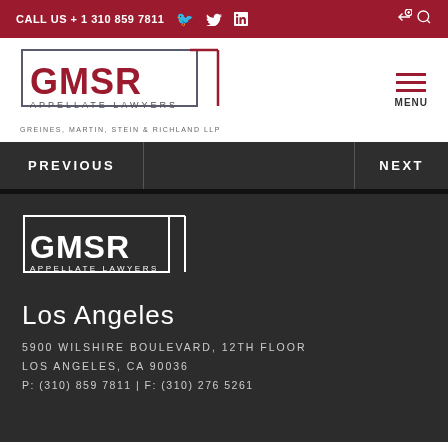CALL US + 1 310 859 7811
[Figure (logo): GMSR Appellate Lawyers logo with text GREINES, MARTIN, STEIN & RICHLAND LLP]
MENU
PREVIOUS
NEXT
[Figure (logo): GMSR Appellate Lawyers white logo on dark background]
Los Angeles
5900 WILSHIRE BOULEVARD, 12TH FLOOR
LOS ANGELES, CA 90036
P: (310) 859 7811 | F: (310) 276 5261